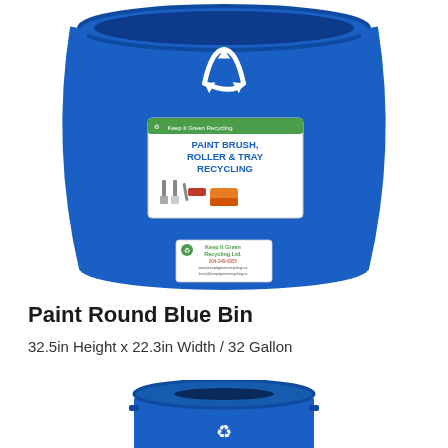[Figure (photo): A large round blue recycling bin with a white recycling symbol on the front top, and a label reading 'PAINT BRUSH, ROLLER & TRAY RECYCLING' with images of paint brushes, roller, and tray. A smaller label with recycling company info is visible near the bottom.]
Paint Round Blue Bin
32.5in Height x 22.3in Width / 32 Gallon
[Figure (photo): Top-down or angled view of a smaller round blue bin with a slot opening on the lid.]